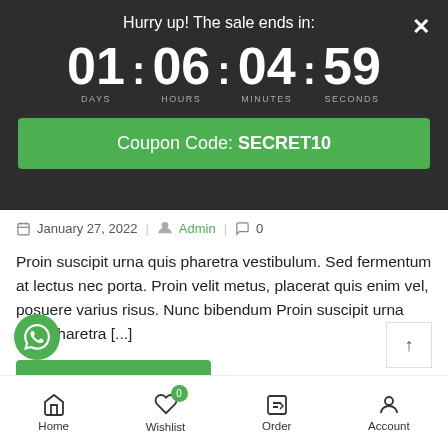Hurry up! The sale ends in:
01 : 06 : 04 : 59 DAYS HOURS MINUTES SECONDS
Coupon Code: SECRET10
January 27, 2022  Admin  0
Proin suscipit urna quis pharetra vestibulum. Sed fermentum at lectus nec porta. Proin velit metus, placerat quis enim vel, posuere varius risus. Nunc bibendum Proin suscipit urna quis pharetra [...]
+ Continue Reading
Home  Wishlist  Order  Account